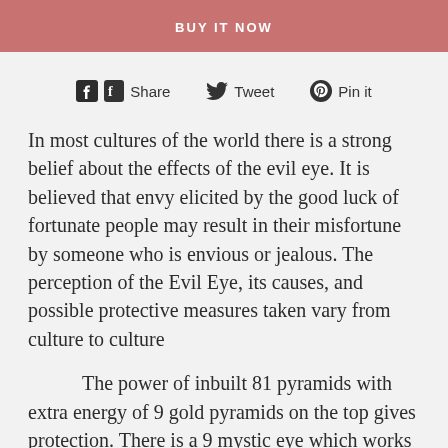[Figure (other): Buy It Now button — salmon/rose colored button with white uppercase text 'BUY IT NOW']
[Figure (other): Social sharing bar with Facebook Share, Twitter Tweet, and Pinterest Pin it icons and labels]
In most cultures of the world there is a strong belief about the effects of the evil eye. It is believed that envy elicited by the good luck of fortunate people may result in their misfortune by someone who is envious or jealous. The perception of the Evil Eye, its causes, and possible protective measures taken vary from culture to culture
The power of inbuilt 81 pyramids with extra energy of 9 gold pyramids on the top gives protection. There is a 9 mystic eye which works as protecting energies. And the bottom is activated with 9 copper discs & 1 gold energy